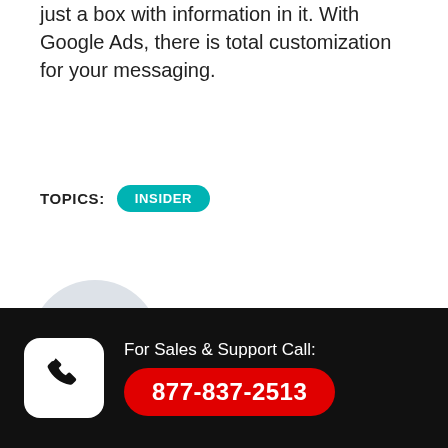just a box with information in it. With Google Ads, there is total customization for your messaging.
TOPICS: INSIDER
[Figure (illustration): Circular placeholder image showing 100x100 dimensions]
For Sales & Support Call: 877-837-2513